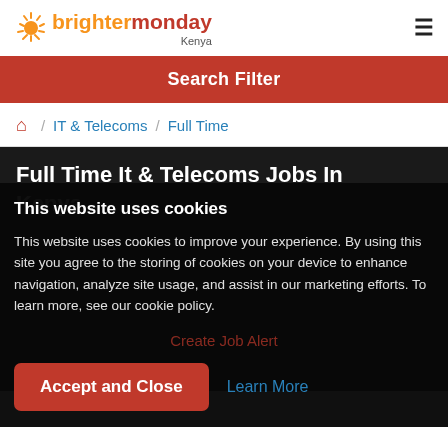brightermonday Kenya
Search Filter
🏠 / IT & Telecoms / Full Time
Full Time It & Telecoms Jobs In Kenya
This website uses cookies
This website uses cookies to improve your experience. By using this site you agree to the storing of cookies on your device to enhance navigation, analyze site usage, and assist in our marketing efforts. To learn more, see our cookie policy.
Accept and Close   Learn More
Create Job Alert